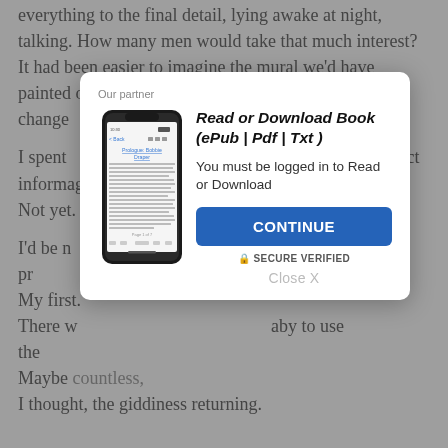everything to the final detail, lying awake at night, talking. How many men would take that much interest? It had been easier to imagine the mural we'd have painted on the nursery [wall would] change [everything].
I spent [time, taking] notes into my [notebook gathering] act information [and planning]. And finally, [nothing was] happening. Not yet. I wa[s waiting].
I'd be n[ot sure I] ould have pr[epared for where we] are at this poi[nt]. My first. There w[as a new b]aby to use the [nursery]. Maybe [successful,] I thought, the giddiness returning.
[Figure (screenshot): Modal dialog overlay on a webpage with partner notice, phone image showing a book page, title 'Read or Download Book (ePub | Pdf | Txt)', login prompt, CONTINUE button, SECURE VERIFIED badge, and Close X option.]